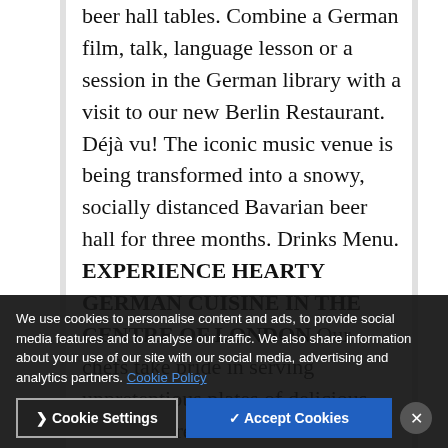beer hall tables. Combine a German film, talk, language lesson or a session in the German library with a visit to our new Berlin Restaurant. Déjà vu! The iconic music venue is being transformed into a snowy, socially distanced Bavarian beer hall for three months. Drinks Menu. EXPERIENCE HEARTY GERMAN CUISINE IN THE CENTRE OF LONDON Our chefs take pride in serving unpretentious plates of delicious German fare. -London's Best Events-. For Christmas parties, we offer packages which include priority entrance, reserved tables and your own Bavarian beer maiden waitress for the evening. The German Oktoberfest Beer Festival site is opening and trappings are here; the Bavarian Winter Beer Festival is UK craft ales, Bavarian st
We use cookies to personalise content and ads, to provide social media features and to analyse our traffic. We also share information about your use of our site with our social media, advertising and analytics partners. Cookie Policy